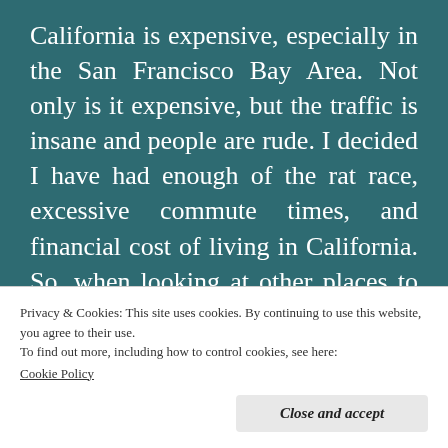California is expensive, especially in the San Francisco Bay Area. Not only is it expensive, but the traffic is insane and people are rude. I decided I have had enough of the rat race, excessive commute times, and financial cost of living in California. So, when looking at other places to live, I find Minnesota to be REALLY attractive. I can have my adventure of living in a whole new state, but have family nearby. I can live in a culture where people are nice, they look you in the eye, and the people connection is more important
Privacy & Cookies: This site uses cookies. By continuing to use this website, you agree to their use.
To find out more, including how to control cookies, see here:
Cookie Policy